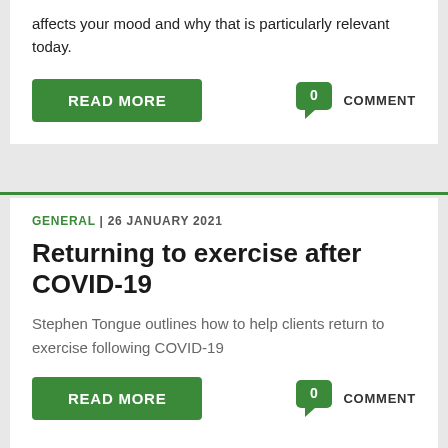affects your mood and why that is particularly relevant today.
READ MORE
0 COMMENT
GENERAL | 26 JANUARY 2021
Returning to exercise after COVID-19
Stephen Tongue outlines how to help clients return to exercise following COVID-19
READ MORE
0 COMMENT